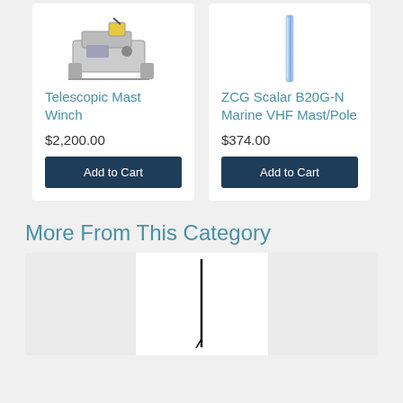[Figure (photo): Telescopic Mast Winch product image]
Telescopic Mast Winch
$2,200.00
Add to Cart
[Figure (photo): ZCG Scalar B20G-N Marine VHF Mast/Pole product image - vertical pole/antenna]
ZCG Scalar B20G-N Marine VHF Mast/Pole
$374.00
Add to Cart
More From This Category
[Figure (photo): Antenna product image - tall thin black antenna/pole on white background]